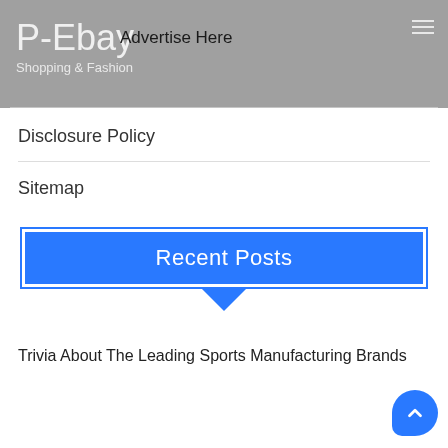P-Ebay — Shopping & Fashion
Advertise Here
Disclosure Policy
Sitemap
Recent Posts
Trivia About The Leading Sports Manufacturing Brands